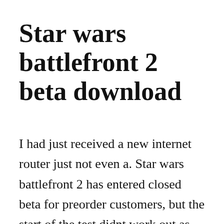Star wars battlefront 2 beta download
I had just received a new internet router just not even a. Star wars battlefront 2 has entered closed beta for preorder customers, but the start of the test didnt work out as smoothly as planned. Nov 17, 2015 star wars battlefront brings grand spectacle to the iconic scifi universe, but the overall experience wears thin